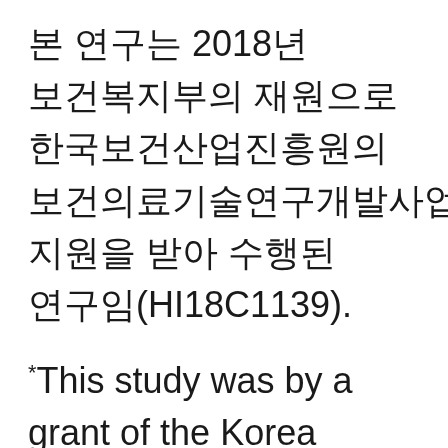본 연구는 2018년 보건복지부의 재원으로 한국보건산업진흥원의 보건의료기술연구개발사업 지원을 받아 수행된 연구임(HI18C1139).
*This study was by a grant of the Korea Health Technology R&D Project through the Korea Health Industry